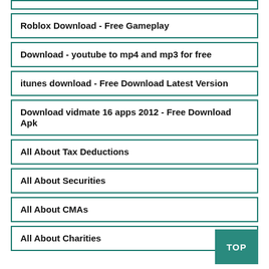Roblox Download - Free Gameplay
Download - youtube to mp4 and mp3 for free
itunes download - Free Download Latest Version
Download vidmate 16 apps 2012 - Free Download Apk
All About Tax Deductions
All About Securities
All About CMAs
All About Charities